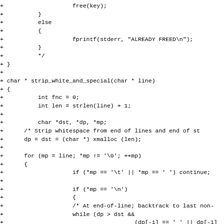Code diff showing C function strip_white_and_special with added lines marked by + prefix, including free(key), else block with fprintf, closing braces, function signature, variable declarations, and loop logic.